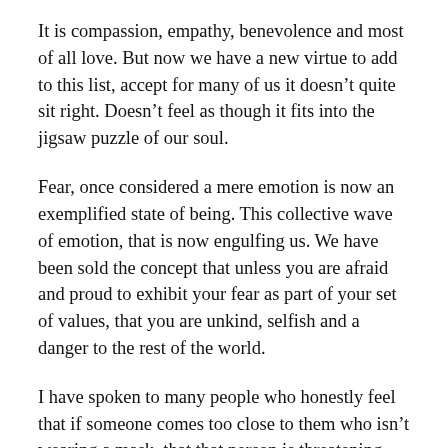It is compassion, empathy, benevolence and most of all love. But now we have a new virtue to add to this list, accept for many of us it doesn't quite sit right. Doesn't feel as though it fits into the jigsaw puzzle of our soul.
Fear, once considered a mere emotion is now an exemplified state of being. This collective wave of emotion, that is now engulfing us. We have been sold the concept that unless you are afraid and proud to exhibit your fear as part of your set of values, that you are unkind, selfish and a danger to the rest of the world.
I have spoken to many people who honestly feel that if someone comes too close to them who isn't wearing a mask, that that person is threatening them, and not only them but their family too. The mask becomes like a badge of honour, and there